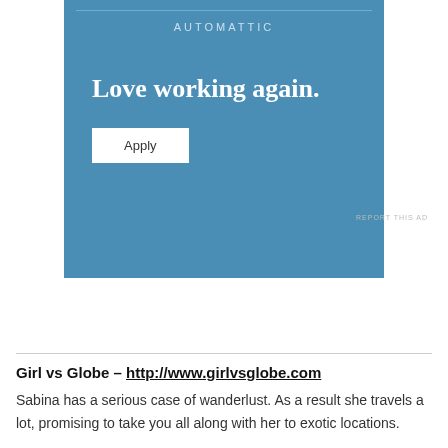[Figure (infographic): Automattic advertisement banner with blue background. Shows 'AUTOMATTIC' brand name at top, large headline 'Love working again.' and an Apply button below.]
REPORT THIS AD
Girl vs Globe – http://www.girlvsglobe.com
Sabina has a serious case of wanderlust. As a result she travels a lot, promising to take you all along with her to exotic locations.